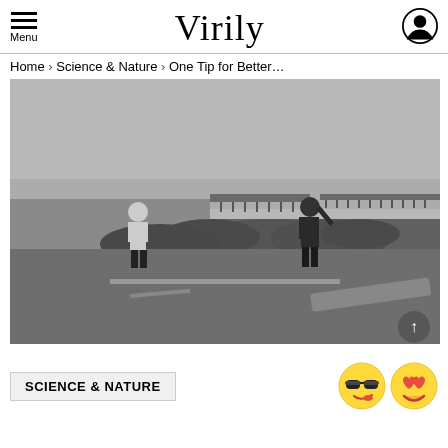Menu | Virily
Home › Science & Nature › One Tip for Better...
[Figure (photo): Black and white photo of two people standing on a coastal road near a rocky jetty during stormy/windy weather, with a pier visible in the background. A fallen barrier is visible in the foreground lower right. An up-arrow button is in the bottom right corner.]
SCIENCE & NATURE
[Figure (illustration): Two emoji faces: a cool/sunglasses emoji and a heart-eyes emoji]